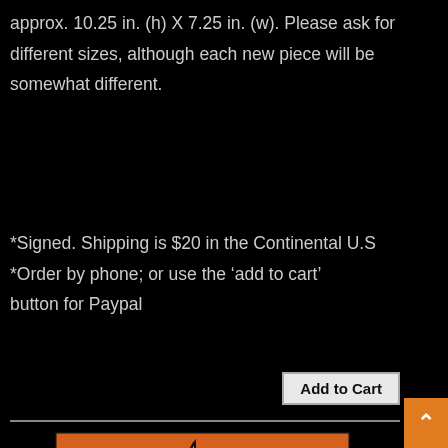approx. 10.25 in. (h) X 7.25 in. (w). Please ask for different sizes, although each new piece will be somewhat different.
*Signed. Shipping is $20 in the Continental U.S
*Order by phone; or use the ‘add to cart’ button for Paypal
Add to Cart
[Figure (illustration): Colorful painting of a palm tree with an orange sunset sky, blue waves, and a small sailboat. Bold outlines in a stylized illustrative style.]
Ca
nn